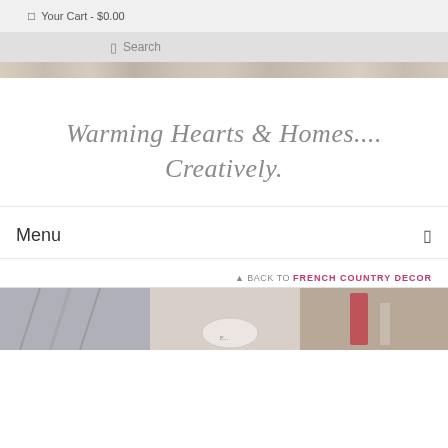Your Cart - $0.00
Search
[Figure (photo): Decorative banner strip image at top of page]
Warming Hearts & Homes.... Creatively.
Menu
BACK TO FRENCH COUNTRY DECOR
[Figure (photo): Product photo showing decorative items at bottom of page]